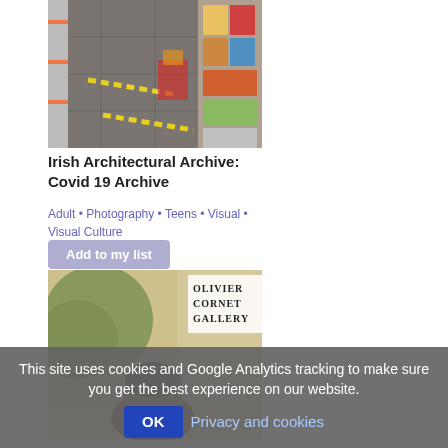[Figure (photo): Overhead view of a store aisle with yellow social distancing floor markers and shelves with products]
Irish Architectural Archive: Covid 19 Archive
Adult • Photography • Teens • Visual • Visual Culture
Add to my list
[Figure (photo): Olivier Cornet Gallery artwork showing a person in front of a painting]
This site uses cookies and Google Analytics tracking to make sure you get the best experience on our website.
OK  Privacy and cookies